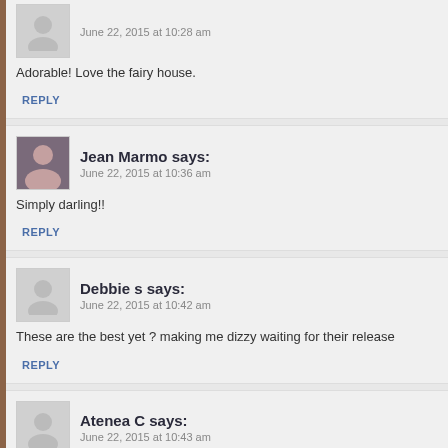June 22, 2015 at 10:28 am
Adorable! Love the fairy house.
REPLY
Jean Marmo says:
June 22, 2015 at 10:36 am
Simply darling!!
REPLY
Debbie s says:
June 22, 2015 at 10:42 am
These are the best yet ? making me dizzy waiting for their release
REPLY
Atenea C says:
June 22, 2015 at 10:43 am
Adorable! I love all your Little Bits collections. Can't wait to get my hands on t
REPLY
Lorraine Snyder says:
June 22, 2015 at 10:56 am